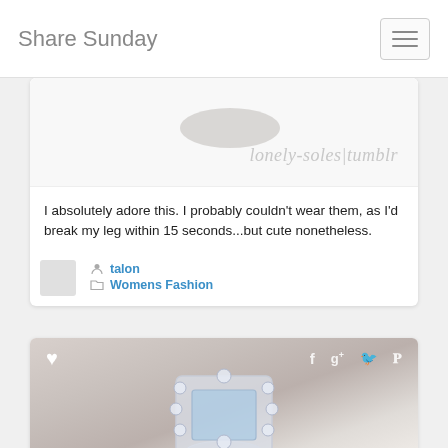Share Sunday
[Figure (photo): Partial view of a shoe image with watermark text 'lonely-soles|tumblr' in light gray italic]
I absolutely adore this. I probably couldn't wear them, as I'd break my leg within 15 seconds...but cute nonetheless.
talon
Womens Fashion
[Figure (photo): Close-up photo of a diamond and aquamarine vintage-style ring on a light gray fabric background, with social sharing icons (heart, f, g+, bird, pinterest) overlaid at the top]